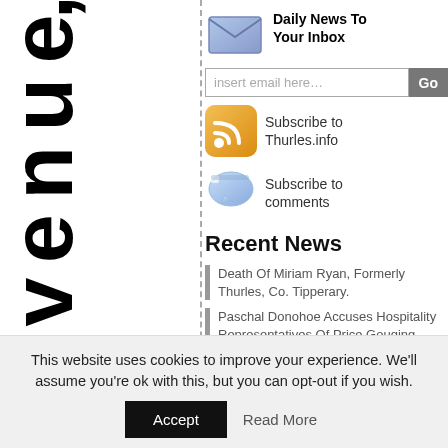at le r A v e n u e,
[Figure (illustration): Email envelope icon, light blue/purple gradient]
Daily News To Your Inbox
[Figure (illustration): RSS feed icon, orange/yellow]
Subscribe to Thurles.info
[Figure (illustration): Speech bubble / comments icon, blue]
Subscribe to comments
Recent News
Death Of Miriam Ryan, Formerly Thurles, Co. Tipperary.
Paschal Donohoe Accuses Hospitality Representatives Of Price Gouging.
Covid -19 Vaccine Reminder for Persons Aged 50 Years & Over.
This website uses cookies to improve your experience. We'll assume you're ok with this, but you can opt-out if you wish.